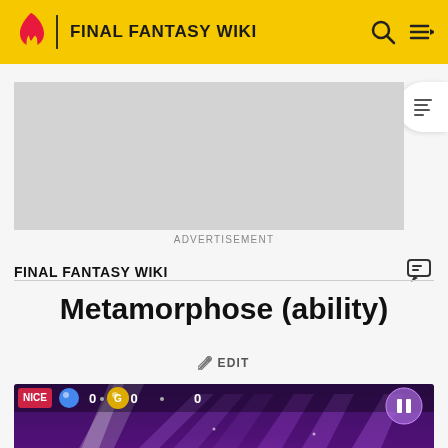FINAL FANTASY WIKI
[Figure (screenshot): Advertisement placeholder (grey rectangle)]
ADVERTISEMENT
FINAL FANTASY WIKI
Metamorphose (ability)
EDIT
[Figure (screenshot): Game screenshot showing purple-themed rhythm game interface with musical notes, score counters reading 0, a pause button, and a glowing character at the bottom on a dark purple background with light ray effects.]